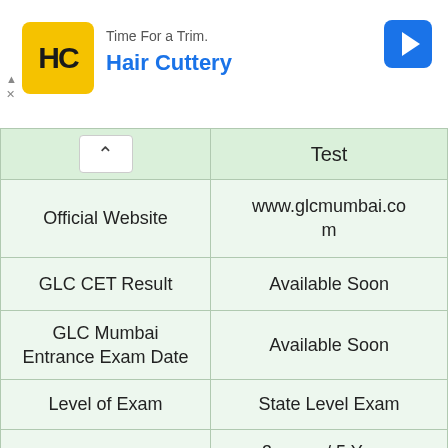[Figure (other): Hair Cuttery advertisement banner with logo, brand name, and navigation arrow icon]
|  | Test |
| --- | --- |
| Official Website | www.glcmumbai.com |
| GLC CET Result | Available Soon |
| GLC Mumbai Entrance Exam Date | Available Soon |
| Level of Exam | State Level Exam |
| Courses Offred | 3 years / 5 Years LLB Courses |
| Exam Mode | Online |
| Last Date of |  |